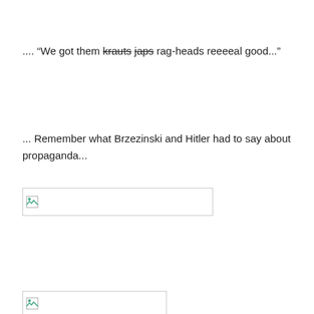.... “We got them krauts japs rag-heads reeeeal good...”
... Remember what Brzezinski and Hitler had to say about propaganda...
[Figure (other): Broken image placeholder (wide rectangle with broken image icon)]
[Figure (other): Broken image placeholder (wide rectangle with broken image icon, partially visible at bottom)]